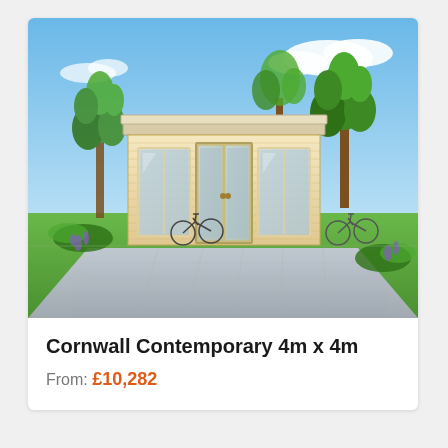[Figure (photo): Product photo of the Cornwall Contemporary 4m x 4m log cabin with large glass double doors and side windows, set on a paved patio surrounded by tropical trees and bicycles, under a blue sky.]
Cornwall Contemporary 4m x 4m
From: £10,282